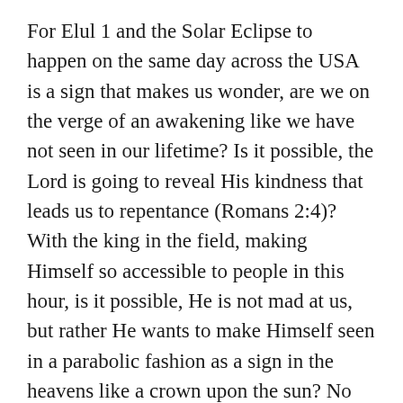For Elul 1 and the Solar Eclipse to happen on the same day across the USA is a sign that makes us wonder, are we on the verge of an awakening like we have not seen in our lifetime? Is it possible, the Lord is going to reveal His kindness that leads us to repentance (Romans 2:4)? With the king in the field, making Himself so accessible to people in this hour, is it possible, He is not mad at us, but rather He wants to make Himself seen in a parabolic fashion as a sign in the heavens like a crown upon the sun? No matter what you may think this is all about, one thing I know for sure, God is at the center of it all. You can't make this stuff up, Elul has had the same meaning for year after year. So, while some are anticipating disaster, others are seeing at as science, I am going to be looking up into the sky with my solar eclipse glasses on knowing the king is in the field and I am going to say thank you Lord for being God alone!